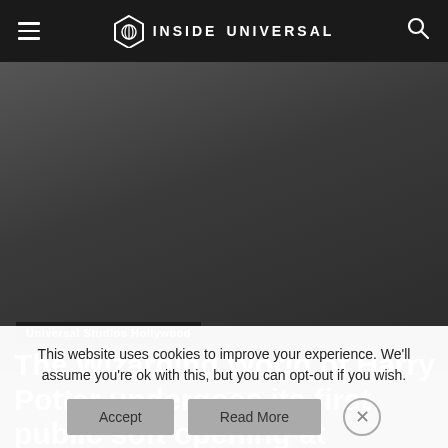INSIDE UNIVERSAL
Home › Universal Studios Hollywood
[Figure (photo): Dark gradient hero image background for article]
Universal Studios Hollywood
The Wizarding World of Harry Potter undergoes its first public soft opening at Universal Studios Hollywood
This website uses cookies to improve your experience. We'll assume you're ok with this, but you can opt-out if you wish.